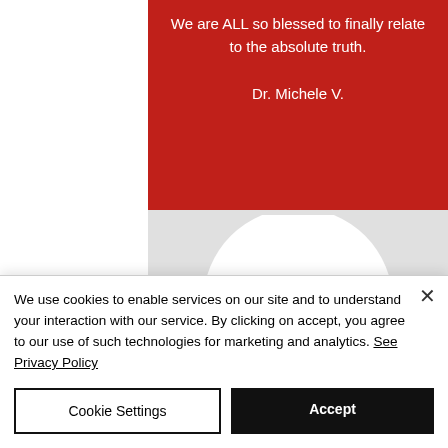We are ALL so blessed to finally relate to the absolute truth.

Dr. Michele V.
[Figure (logo): Amazon logo: large lowercase 'a' with smile/arrow underneath on a white circle, set against a light grey background]
We use cookies to enable services on our site and to understand your interaction with our service. By clicking on accept, you agree to our use of such technologies for marketing and analytics. See Privacy Policy
Cookie Settings
Accept